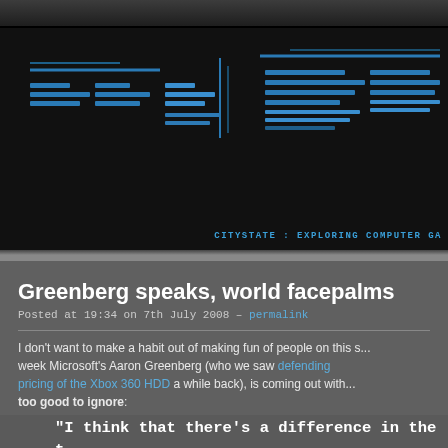[Figure (logo): CityState blog header with stylized blue pixel/circuit-board logo graphic on black background]
CITYSTATE : EXPLORING COMPUTER GA
Greenberg speaks, world facepalms
Posted at 19:34 on 7th July 2008 – permalink
I don't want to make a habit out of making fun of people on this s... week Microsoft's Aaron Greenberg (who we saw defending pricing of the Xbox 360 HDD a while back), is coming out with... too good to ignore:
“I think that there’s a difference in the t... of customer that is buying the Wii. When... think about it, there’s a difference betw... trying to be the number one console w... nine year old gamers, and being the cons... that offers the most experiences from 1... 33...